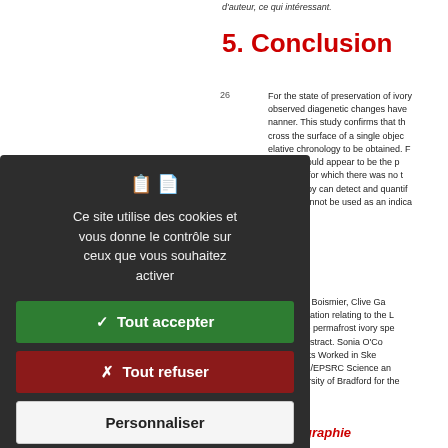d'auteur, ce qui intéressant.
5. Conclusion
26   For the state of preservation of ivory observed diagenetic changes have manner. This study confirms that th cross the surface of a single objec elative chronology to be obtained. F ontrary, would appear to be the p orrelation for which there was no t pectroscopy can detect and quantif hanges cannot be used as an indica
To Bill Boismier, Clive Ga information relating to the L for the permafrost ivory spe the abstract. Sonia O'Co Objects Worked in Ske AHRC/EPSRC Science an University of Bradford for the
Bibliographie
[Figure (screenshot): Cookie consent overlay with dark background showing accept, refuse, and personalize buttons in French]